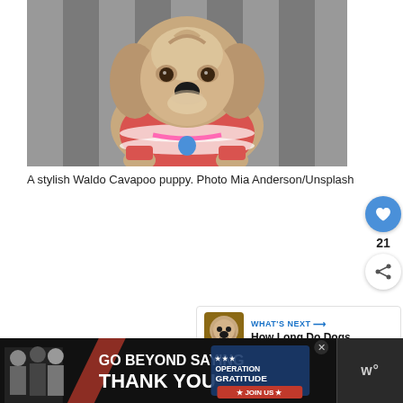[Figure (photo): A Cavapoo puppy wearing a red and white striped sweater, looking up at the camera, standing on a striped surface. The dog has a blue heart-shaped tag on its collar.]
A stylish Waldo Cavapoo puppy. Photo Mia Anderson/Unsplash
[Figure (infographic): What's Next panel showing a thumbnail of a dog's face with text 'WHAT'S NEXT → How Long Do Dogs...']
[Figure (infographic): Advertisement banner: GO BEYOND SAYING THANK YOU - Operation Gratitude - JOIN US, with a close button and a 'w°' logo on the right side]